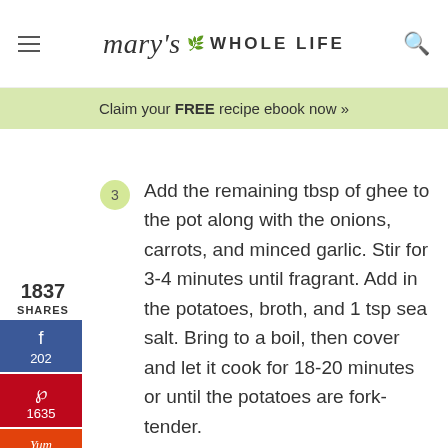mary's WHOLE LIFE
Claim your FREE recipe ebook now »
1837 SHARES
3  Add the remaining tbsp of ghee to the pot along with the onions, carrots, and minced garlic. Stir for 3-4 minutes until fragrant. Add in the potatoes, broth, and 1 tsp sea salt. Bring to a boil, then cover and let it cook for 18-20 minutes or until the potatoes are fork-tender.
4  Use a slotted spoon to remove 1 cup of cooked diced potatoes from the pot and add them to a high-